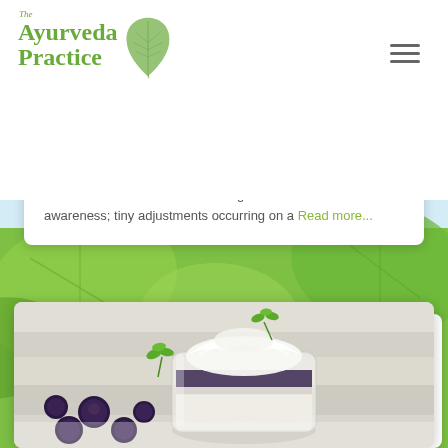[Figure (logo): The Ayurveda Practice logo with green leaf graphic]
and continue to live. Much of this goes on without our awareness; tiny adjustments occurring on a Read more...
[Figure (photo): A glass jar of yogurt or cream dessert with blueberries and green herbs on a white wooden surface]